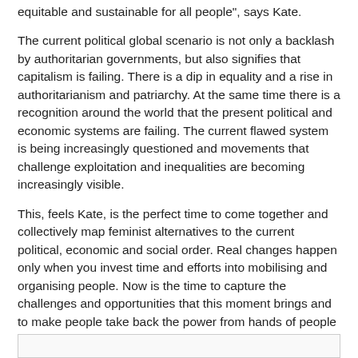address the sexual division of labour and are more gender equitable and sustainable for all people", says Kate.
The current political global scenario is not only a backlash by authoritarian governments, but also signifies that capitalism is failing. There is a dip in equality and a rise in authoritarianism and patriarchy. At the same time there is a recognition around the world that the present political and economic systems are failing. The current flawed system is being increasingly questioned and movements that challenge exploitation and inequalities are becoming increasingly visible.
This, feels Kate, is the perfect time to come together and collectively map feminist alternatives to the current political, economic and social order. Real changes happen only when you invest time and efforts into mobilising and organising people. Now is the time to capture the challenges and opportunities that this moment brings and to make people take back the power from hands of people who are not accountable to them."